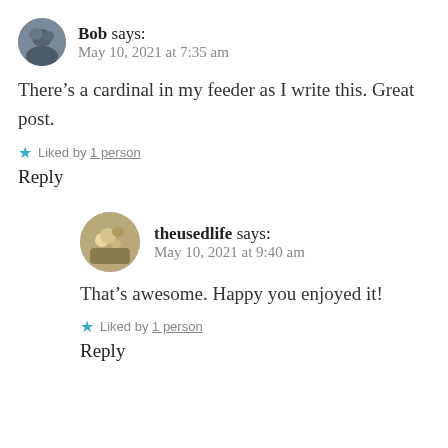Bob says: May 10, 2021 at 7:35 am
There’s a cardinal in my feeder as I write this. Great post.
★ Liked by 1 person
Reply
theusedlife says: May 10, 2021 at 9:40 am
That’s awesome. Happy you enjoyed it!
★ Liked by 1 person
Reply